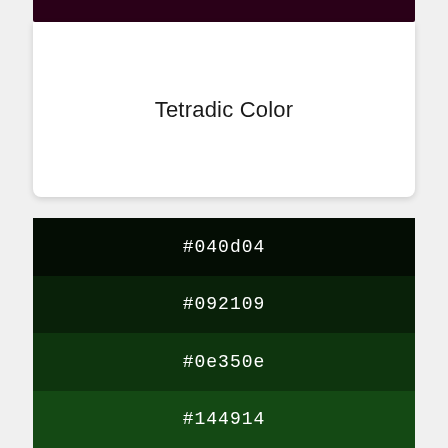[Figure (illustration): Dark purple/maroon top bar strip at the top of the card]
Tetradic Color
[Figure (infographic): Four vertically stacked color swatches showing shades of dark green, each labeled with their hex color codes: #040d04, #092109, #0e350e, #144914]